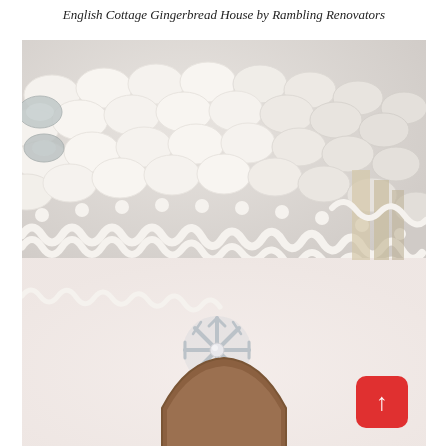English Cottage Gingerbread House by Rambling Renovators
[Figure (photo): Close-up photograph of an intricately decorated English Cottage Gingerbread House. The roof is covered with overlapping white fondant oval shingles and glittery silver disc decorations. The eaves feature detailed white royal icing piped in looping scallop patterns. The pale pink/cream wall has a silver glitter snowflake decoration with a pearl center. A brown arched doorway is partially visible at the bottom. A red button with an upward arrow is overlaid in the bottom-right corner.]